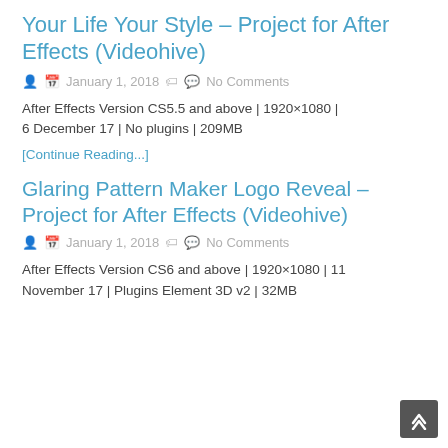Your Life Your Style – Project for After Effects (Videohive)
January 1, 2018   No Comments
After Effects Version CS5.5 and above | 1920×1080 | 6 December 17 | No plugins | 209MB
[Continue Reading...]
Glaring Pattern Maker Logo Reveal – Project for After Effects (Videohive)
January 1, 2018   No Comments
After Effects Version CS6 and above | 1920×1080 | 11 November 17 | Plugins Element 3D v2 | 32MB